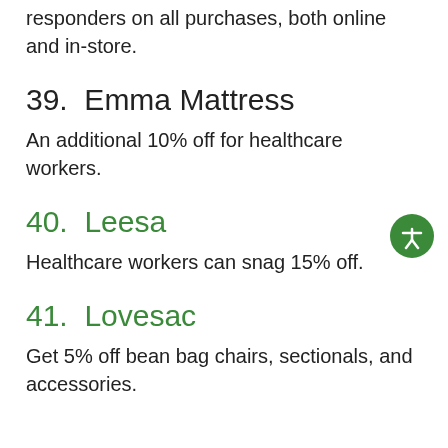responders on all purchases, both online and in-store.
39. Emma Mattress
An additional 10% off for healthcare workers.
40. Leesa
Healthcare workers can snag 15% off.
41. Lovesac
Get 5% off bean bag chairs, sectionals, and accessories.